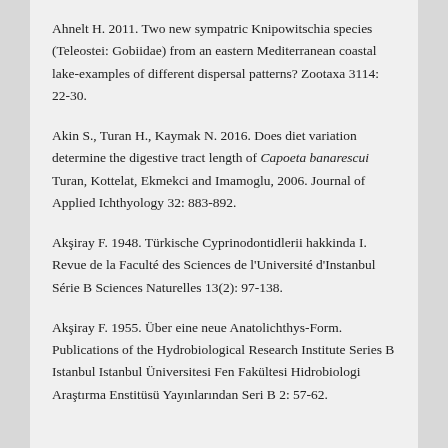Ahnelt H. 2011. Two new sympatric Knipowitschia species (Teleostei: Gobiidae) from an eastern Mediterranean coastal lake-examples of different dispersal patterns? Zootaxa 3114: 22-30.
Akin S., Turan H., Kaymak N. 2016. Does diet variation determine the digestive tract length of Capoeta banarescui Turan, Kottelat, Ekmekci and Imamoglu, 2006. Journal of Applied Ichthyology 32: 883-892.
Akşiray F. 1948. Türkische Cyprinodontidlerii hakkinda I. Revue de la Faculté des Sciences de l'Université d'Instanbul Série B Sciences Naturelles 13(2): 97-138.
Akşiray F. 1955. Über eine neue Anatolichthys-Form. Publications of the Hydrobiological Research Institute Series B Istanbul Istanbul Üniversitesi Fen Fakültesi Hidrobiologi Araştırma Enstitüsü Yayınlarından Seri B 2: 57-62.